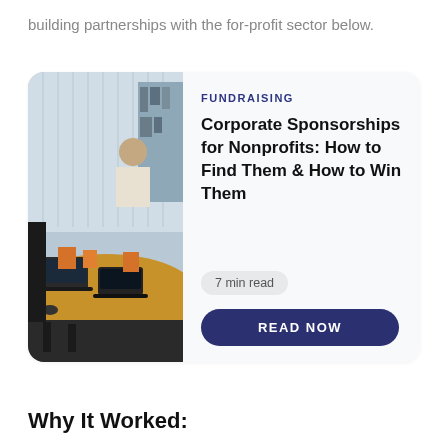building partnerships with the for-profit sector below.
[Figure (infographic): Article card with an office meeting room photo on the left showing laptops and people at a round table, and article details on the right including category tag, title, reading time, and a read now button.]
Why It Worked: